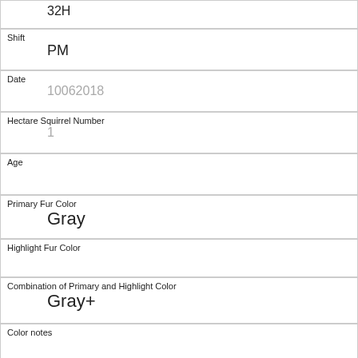32H
Shift
PM
Date
10062018
Hectare Squirrel Number
1
Age
Primary Fur Color
Gray
Highlight Fur Color
Combination of Primary and Highlight Color
Gray+
Color notes
Location
Above Ground
Above Ground Sighter Measurement